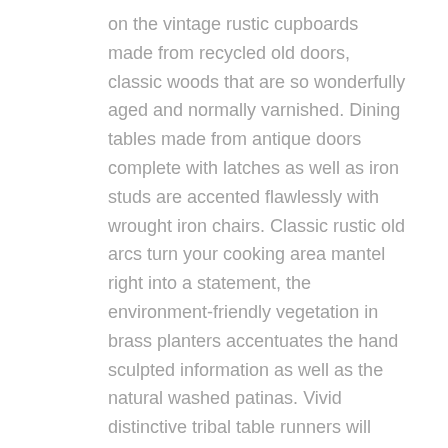on the vintage rustic cupboards made from recycled old doors, classic woods that are so wonderfully aged and normally varnished. Dining tables made from antique doors complete with latches as well as iron studs are accented flawlessly with wrought iron chairs. Classic rustic old arcs turn your cooking area mantel right into a statement, the environment-friendly vegetation in brass planters accentuates the hand sculpted information as well as the natural washed patinas. Vivid distinctive tribal table runners will give your tables an sophisticated, vintage bohemian life flair that functions well with a wide range of shades. Pick up an old planter as well as loaded with beautiful home yard plants or natural herbs. Vintage bowls and rustic brass urns used as a centerpiece overruning with seasonal pumpkins, pines as well as blooming twigs generate the old fashioned cottage charm.